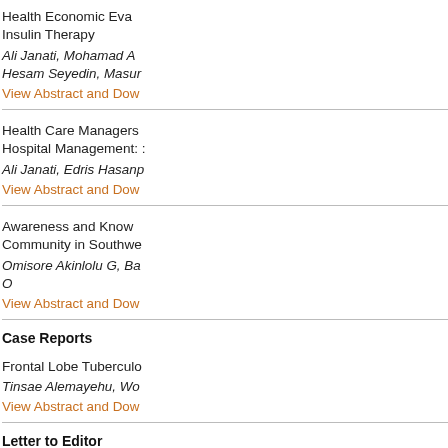Health Economic Evaluation of Insulin Therapy
Ali Janati, Mohamad A...
Hesam Seyedin, Masur...
View Abstract and Download
Health Care Managers and Hospital Management: ...
Ali Janati, Edris Hasanp...
View Abstract and Download
Awareness and Knowledge...
Community in Southwe...
Omisore Akinlolu G, Ba...
O
View Abstract and Download
Case Reports
Frontal Lobe Tuberculo...
Tinsae Alemayehu, Wo...
View Abstract and Download
Letter to Editor